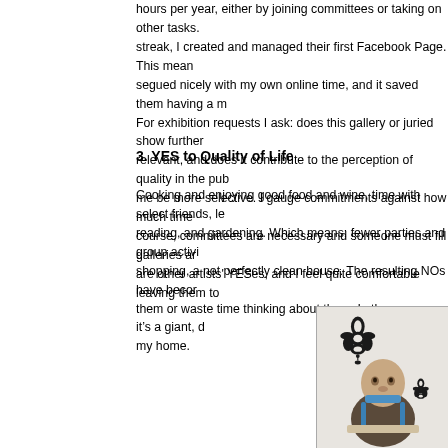hours per year, either by joining committees or taking on other tasks. streak, I created and managed their first Facebook Page. This mean segued nicely with my own online time, and it saved them having a m For exhibition requests I ask: does this gallery or juried show further relevant, and does it contribute to the perception of quality in the pub me be more selective. I gauge commitments against how much time course, committees are necessary and someone must fill galleries ar are other artists' YESes, and I feel quite comfortable leaving them to
3. YES to Quality of Life
Cooking and enjoying good food and wine, time with select friends, le reading, and gardening. Which means: fewer parties and group activi shopping, a not perfectly clean house. The resulting NOs have becor them or waste time thinking about them. In the summer it's a giant, d my home.
[Figure (photo): A baby/infant sitting in a blue high chair in a room with decorative black ornamental wall decals/stickers on a white wall. The baby is wearing a brown/dark outfit. Two ornamental floral/damask patterns are visible on the wall behind the baby.]